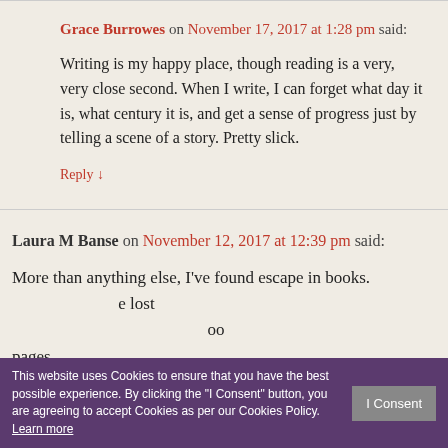Grace Burrowes on November 17, 2017 at 1:28 pm said:
Writing is my happy place, though reading is a very, very close second. When I write, I can forget what day it is, what century it is, and get a sense of progress just by telling a scene of a story. Pretty slick.
Reply ↓
Laura M Banse on November 12, 2017 at 12:39 pm said:
More than anything else, I've found escape in books. ...e lost ...oo pages.
This website uses Cookies to ensure that you have the best possible experience. By clicking the "I Consent" button, you are agreeing to accept Cookies as per our Cookies Policy. Learn more